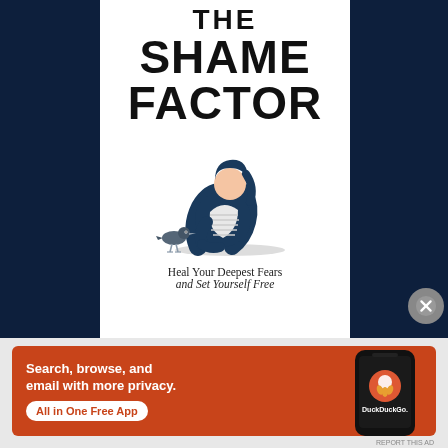[Figure (illustration): Book cover of 'The Shame Factor' showing title text and an illustration of a person sitting curled up with knees to chest, head down, and a bird standing nearby. Dark navy background flanks a white book cover.]
THE SHAME FACTOR
Heal Your Deepest Fears
[Figure (advertisement): DuckDuckGo advertisement banner on orange background. Text reads: 'Search, browse, and email with more privacy. All in One Free App'. Shows a phone with DuckDuckGo logo.]